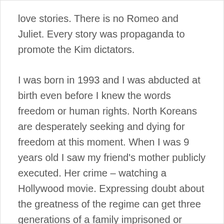love stories. There is no Romeo and Juliet. Every story was propaganda to promote the Kim dictators.
I was born in 1993 and I was abducted at birth even before I knew the words freedom or human rights. North Koreans are desperately seeking and dying for freedom at this moment. When I was 9 years old I saw my friend's mother publicly executed. Her crime – watching a Hollywood movie. Expressing doubt about the greatness of the regime can get three generations of a family imprisoned or executed. When I was four years old, I was warned by my mother not to even whisper, the birds and mice couldn't hear me. I